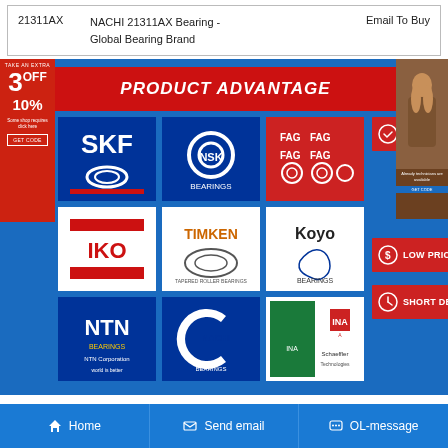|  |  |  |
| --- | --- | --- |
| 21311AX | NACHI 21311AX Bearing -
Global Bearing Brand | Email To Buy |
[Figure (infographic): Product Advantage banner showing bearing brand logos (SKF, NSK, FAG, IKO, TIMKEN, Koyo, NTN, NACHI, INA) and feature highlights: HIGH QUALITY, LOW PRICE, SHORT DELIVERY TIME. Left side shows a promotional discount (3 OFF 10%). Right side shows a customer service representative.]
Home   Send email   OL-message